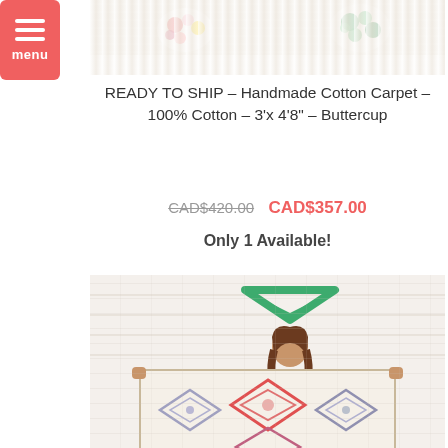[Figure (photo): Top portion of a fluffy handmade cotton rug with colorful floral patches on white/cream background]
[Figure (logo): Red hamburger menu button with three white horizontal lines and 'menu' label]
READY TO SHIP – Handmade Cotton Carpet – 100% Cotton – 3'x 4'8" – Buttercup
CAD$420.00  CAD$357.00
Only 1 Available!
[Figure (photo): Woman holding up a handmade cotton rug with diamond geometric pattern in front of a white brick wall, with a green house/roof icon overlay above her head]